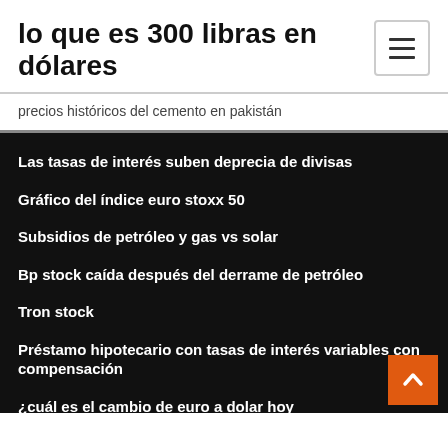lo que es 300 libras en dólares
precios históricos del cemento en pakistán
Las tasas de interés suben deprecia de divisas
Gráfico del índice euro stoxx 50
Subsidios de petróleo y gas vs solar
Bp stock caída después del derrame de petróleo
Tron stock
Préstamo hipotecario con tasas de interés variables con compensación
¿cuál es el cambio de euro a dolar hoy_
.002 bitcoin a inr
Rendimiento del mercado de valores de turquía